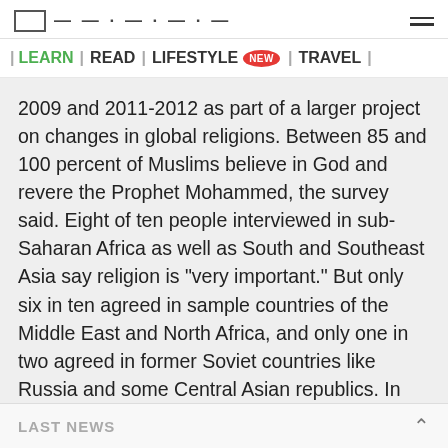| LEARN | READ | LIFESTYLE NEW | TRAVEL |
2009 and 2011-2012 as part of a larger project on changes in global religions. Between 85 and 100 percent of Muslims believe in God and revere the Prophet Mohammed, the survey said. Eight of ten people interviewed in sub-Saharan Africa as well as South and Southeast Asia say religion is "very important." But only six in ten agreed in sample countries of the Middle East and North Africa, and only one in two agreed in former Soviet countries like Russia and some Central Asian republics. In the Middle East and North Africa, Muslims aged 35 and over are more religious than their younger counterparts. The opposite is true of religiosity in Russia. In 39 countries surveyed, men are more likely than women to pray at a mosque, which Bell
LAST NEWS